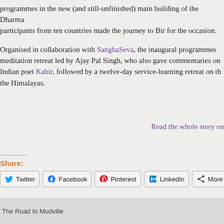programmes in the new (and still-unfinished) main building of the Dharma participants from ten countries made the journey to Bir for the occasion.
Organised in collaboration with SanghaSeva, the inaugural programmes meditation retreat led by Ajay Pal Singh, who also gave commentaries on Indian poet Kabir, followed by a twelve-day service-learning retreat on the Himalayas.
Read the whole story on
Share:
[Figure (screenshot): Social share buttons: Twitter, Facebook, Pinterest, LinkedIn, More]
[Figure (photo): The Road to Mudville - image placeholder]